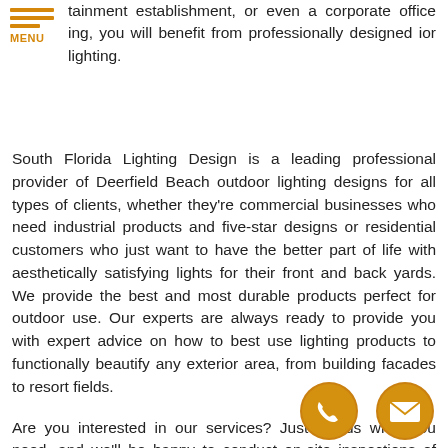MENU
tainment establishment, or even a corporate office ing, you will benefit from professionally designed ior lighting.
South Florida Lighting Design is a leading professional provider of Deerfield Beach outdoor lighting designs for all types of clients, whether they're commercial businesses who need industrial products and five-star designs or residential customers who just want to have the better part of life with aesthetically satisfying lights for their front and back yards. We provide the best and most durable products perfect for outdoor use. Our experts are always ready to provide you with expert advice on how to best use lighting products to functionally beautify any exterior area, from building facades to resort fields.
Are you interested in our services? Just tell us what you need, and we'll be happy to conduct on-site inspections of your property and begin strategizing the best ways to upscale it using our top-notch Deerfield Beach outdoor lighting package.
[Figure (illustration): Orange circular phone/call icon button]
[Figure (illustration): Orange circular email/envelope icon button]